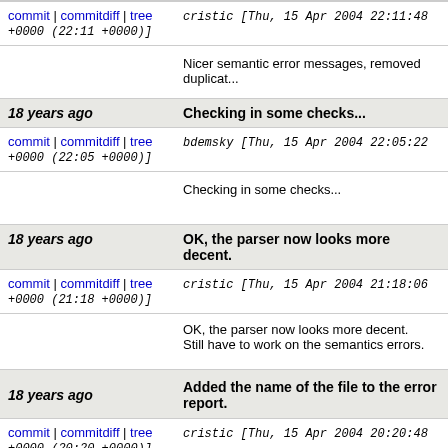commit | commitdiff | tree   cristic [Thu, 15 Apr 2004 22:11:48 +0000 (22:11 +0000)]
Nicer semantic error messages, removed duplicat...
18 years ago   Checking in some checks...
commit | commitdiff | tree   bdemsky [Thu, 15 Apr 2004 22:05:22 +0000 (22:05 +0000)]
Checking in some checks...
18 years ago   OK, the parser now looks more decent.
commit | commitdiff | tree   cristic [Thu, 15 Apr 2004 21:18:06 +0000 (21:18 +0000)]
OK, the parser now looks more decent.
Still have to work on the semantics errors.
18 years ago   Added the name of the file to the error report.
commit | commitdiff | tree   cristic [Thu, 15 Apr 2004 20:20:48 +0000 (20:20 +0000)]
Added the name of the file to the error report.
Changed some error msgs.